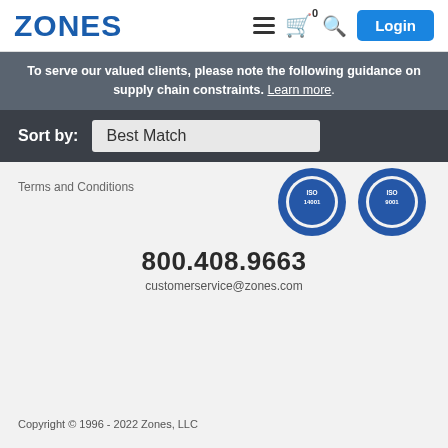ZONES
To serve our valued clients, please note the following guidance on supply chain constraints. Learn more.
Sort by: Best Match
[Figure (logo): Two circular ISO certification badges: ISO 14001 and ISO 9001, blue with white text]
Terms and Conditions
800.408.9663
customerservice@zones.com
Copyright © 1996 - 2022 Zones, LLC